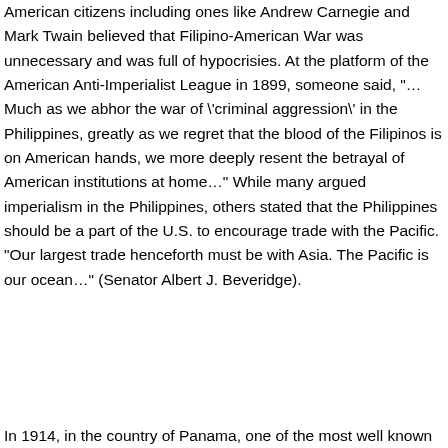American citizens including ones like Andrew Carnegie and Mark Twain believed that Filipino-American War was unnecessary and was full of hypocrisies. At the platform of the American Anti-Imperialist League in 1899, someone said, "... Much as we abhor the war of \'criminal aggression\' in the Philippines, greatly as we regret that the blood of the Filipinos is on American hands, we more deeply resent the betrayal of American institutions at home…" While many argued imperialism in the Philippines, others stated that the Philippines should be a part of the U.S. to encourage trade with the Pacific. "Our largest trade henceforth must be with Asia. The Pacific is our ocean…" (Senator Albert J. Beveridge).
In 1914, in the country of Panama, one of the most well known